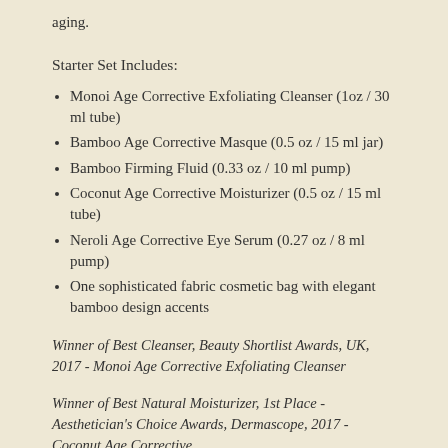aging.
Starter Set Includes:
Monoi Age Corrective Exfoliating Cleanser (1oz / 30 ml tube)
Bamboo Age Corrective Masque (0.5 oz / 15 ml jar)
Bamboo Firming Fluid (0.33 oz / 10 ml pump)
Coconut Age Corrective Moisturizer (0.5 oz / 15 ml tube)
Neroli Age Corrective Eye Serum (0.27 oz / 8 ml pump)
One sophisticated fabric cosmetic bag with elegant bamboo design accents
Winner of Best Cleanser, Beauty Shortlist Awards, UK, 2017 - Monoi Age Corrective Exfoliating Cleanser
Winner of Best Natural Moisturizer, 1st Place - Aesthetician's Choice Awards, Dermascope, 2017 - Coconut Age Corrective